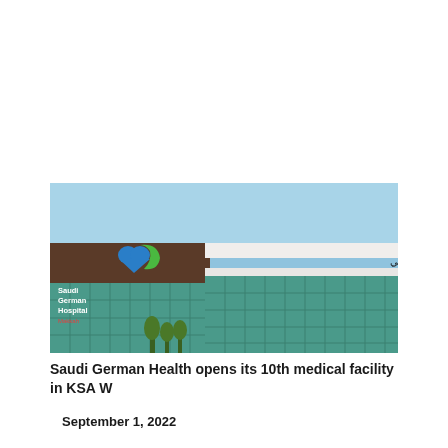[Figure (photo): Exterior photo of Saudi German Hospital building with blue sky background. The building facade shows glass panels in teal/green color. A logo with a heart shape in blue and green is visible on the left side of the building with text 'Saudi German Hospital Makkah'. Arabic text 'المستشفى السعودي الألماني' is displayed on the right portion of the building.]
Saudi German Health opens its 10th medical facility in KSA W
September 1, 2022